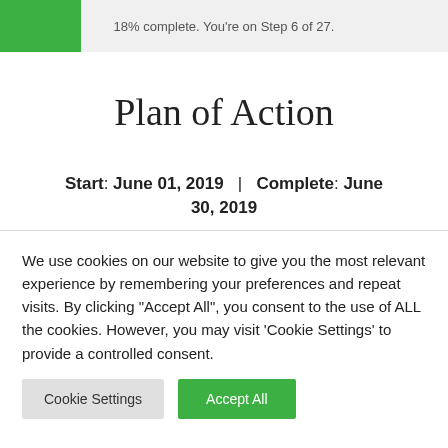18% complete. You're on Step 6 of 27.
Plan of Action
Start: June 01, 2019  |  Complete: June 30, 2019
We use cookies on our website to give you the most relevant experience by remembering your preferences and repeat visits. By clicking "Accept All", you consent to the use of ALL the cookies. However, you may visit 'Cookie Settings' to provide a controlled consent.